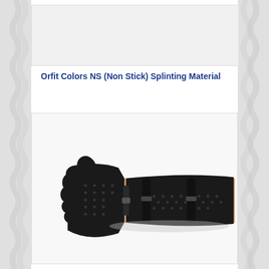[Figure (photo): Top image box placeholder area for product photos]
Orfit Colors NS (Non Stick) Splinting Material
[Figure (photo): Photo of a black perforated hand and wrist splint orthosis worn on a human arm, viewed from the side. The splint covers the hand and forearm with black straps.]